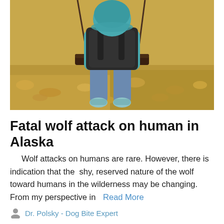[Figure (photo): A child sitting on a swing, wearing a teal hoodie and jeans with teal shoes, photographed from behind. Fall yellow leaves visible on the ground.]
Fatal wolf attack on human in Alaska
Wolf attacks on humans are rare. However, there is indication that the shy, reserved nature of the wolf toward humans in the wilderness may be changing. From my perspective in
Read More
Dr. Polsky - Dog Bite Expert